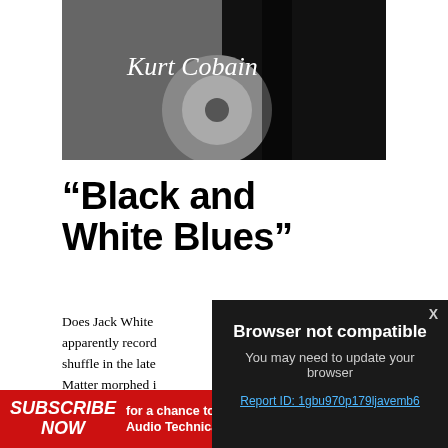[Figure (photo): Black and white photo of a guitar with 'Kurt Cobain' signature written on it]
“Black and White Blues”
Does Jack White apparently record shuffle in the late Matter morphed i endearing, with th erroneously mute intricate picking p American blues. W
[Figure (screenshot): Browser not compatible modal overlay on dark background. Text: 'Browser not compatible. You may need to update your browser. Report ID: 1gbu970p179ljavemb6']
SUBSCRIBE NOW for a chance to WIN 1 of 2 Audio Technica turntables VALUED AT $329